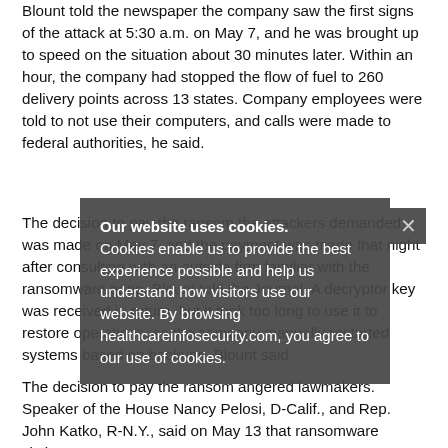Blount told the newspaper the company saw the first signs of the attack at 5:30 a.m. on May 7, and he was brought up to speed on the situation about 30 minutes later. Within an hour, the company had stopped the flow of fuel to 260 delivery points across 13 states. Company employees were told to not use their computers, and calls were made to federal authorities, he said.
The decision to pay the ransom the attackers demanded was made on May 7, and the payment was made that night after consulting with an outside firm familiar with the ransomware gang, Blount told the Journal. A decryptor key was received in return, but it took too long to use it to restore operations, so the company manually restarted systems based on backups, Blount said
The decision to pay the ransom angered lawmakers. Speaker of the House Nancy Pelosi, D-Calif., and Rep. John Katko, R-N.Y., said on May 13 that ransomware victims...
Our website uses cookies. Cookies enable us to provide the best experience possible and help us understand how visitors use our website. By browsing healthcareinfosecurity.com, you agree to our use of cookies.